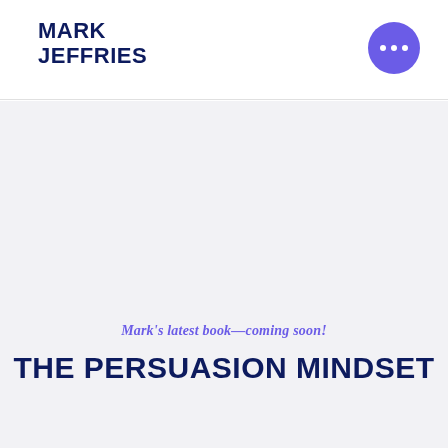MARK JEFFRIES
Mark's latest book—coming soon!
THE PERSUASION MINDSET
Mark's latest book takes an innovative look at business communication in the post-Covid world … Virtual Influence in an age where every word counts